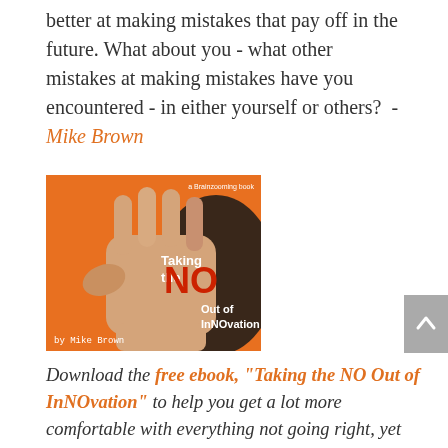better at making mistakes that pay off in the future. What about you - what other mistakes at making mistakes have you encountered - in either yourself or others?  - Mike Brown
[Figure (photo): Book cover for 'Taking the NO Out of InNOvation by Mike Brown' — a Brainzooming book. Shows an open hand (palm up) on orange background with large red 'NO' text.]
Download the free ebook, "Taking the NO Out of InNOvation" to help you get a lot more comfortable with everything not going right, yet still being innovative! For an organizational